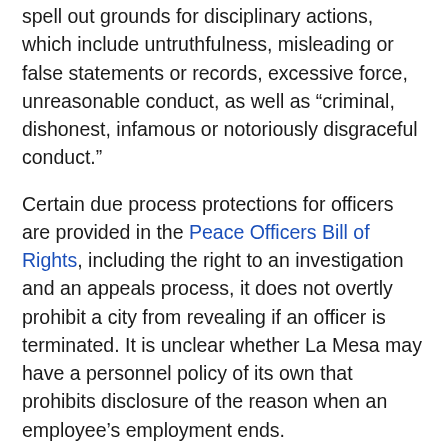spell out grounds for disciplinary actions, which include untruthfulness, misleading or false statements or records, excessive force, unreasonable conduct, as well as “criminal, dishonest, infamous or notoriously disgraceful conduct.”
Certain due process protections for officers are provided in the Peace Officers Bill of Rights, including the right to an investigation and an appeals process, it does not overtly prohibit a city from revealing if an officer is terminated. It is unclear whether La Mesa may have a personnel policy of its own that prohibits disclosure of the reason when an employee’s employment ends.
Some California police departments have publicly announced firing of officers within the past couple of months. The Long Beach Police Department disclosed in June that it had fired a police office for posting a photo of himself holding a baton over a blood-spattered sidewalk, the Sacramento Bee reported. In March, the Elk Grove police department fired an office who allegedly kicked a burglar...